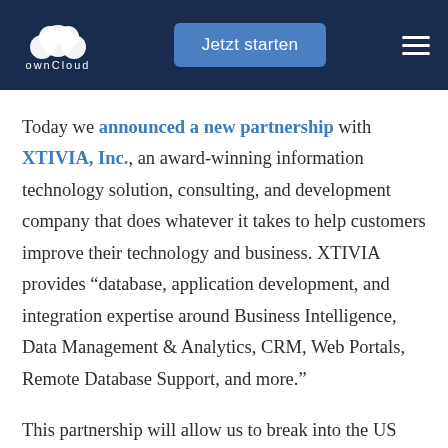ownCloud — Jetzt starten (navigation header)
Today we announced a new partnership with XTIVIA, Inc., an award-winning information technology solution, consulting, and development company that does whatever it takes to help customers improve their technology and business. XTIVIA provides “database, application development, and integration expertise around Business Intelligence, Data Management & Analytics, CRM, Web Portals, Remote Database Support, and more.”
This partnership will allow us to break into the US market and give our present and future North America...